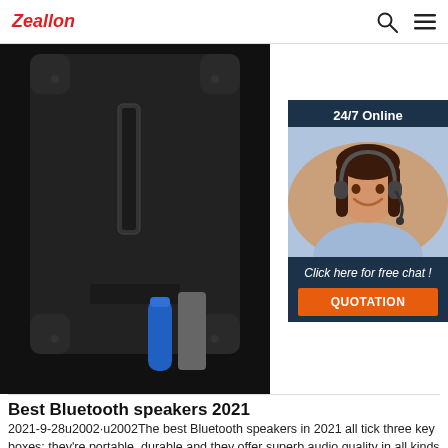Zeallon
[Figure (photo): Back view of a black rugged Bluetooth speaker with a blue cylindrical battery and a gray rectangular component visible, on a dark background.]
[Figure (infographic): Sidebar widget showing '24/7 Online' with a customer service representative wearing a headset. Below: 'Click here for free chat!' and an orange 'QUOTATION' button.]
Best Bluetooth speakers 2021
2021-9-28u2002·u2002The best Bluetooth speakers in 2021 all tick three key boxes: they're portable, durable and they offer superb audio quality in all kinds of environments.